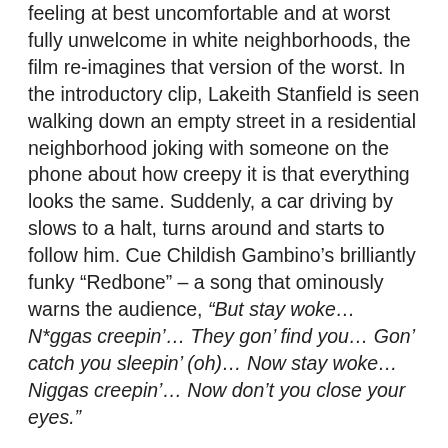feeling at best uncomfortable and at worst fully unwelcome in white neighborhoods, the film re-imagines that version of the worst. In the introductory clip, Lakeith Stanfield is seen walking down an empty street in a residential neighborhood joking with someone on the phone about how creepy it is that everything looks the same. Suddenly, a car driving by slows to a halt, turns around and starts to follow him. Cue Childish Gambino’s brilliantly funky “Redbone” – a song that ominously warns the audience, “But stay woke… N*ggas creepin’… They gon’ find you… Gon’ catch you sleepin’ (oh)… Now stay woke… Niggas creepin’… Now don’t you close your eyes.”
The screen goes black, and we meet our leads: Daniel Kaluuya is Chris, our protagonist, and his girlfriend, Rose, Allison Williams (from HBO’s “Girls”)